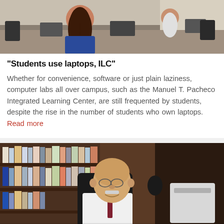[Figure (photo): Students sitting at desks in a computer lab, viewed from behind, with monitors and chairs visible.]
"Students use laptops, ILC"
Whether for convenience, software or just plain laziness, computer labs all over campus, such as the Manuel T. Pacheco Integrated Learning Center, are still frequented by students, despite the rise in the number of students who own laptops. Read more
[Figure (photo): Older male doctor/researcher in a white coat sitting at a desk in front of a bookshelf filled with medical books, smiling at the camera.]
Researchers find clues to aging
A UA research team recently made a novel finding which linked chronic inflammatory disease to premature aging